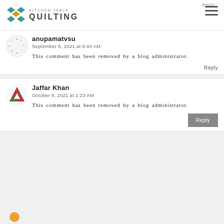Kitchen Table Quilting
anupamatvsu
September 6, 2021 at 6:40 AM
This comment has been removed by a blog administrator.
Reply
Jaffar Khan
October 9, 2021 at 1:23 AM
This comment has been removed by a blog administrator.
Reply